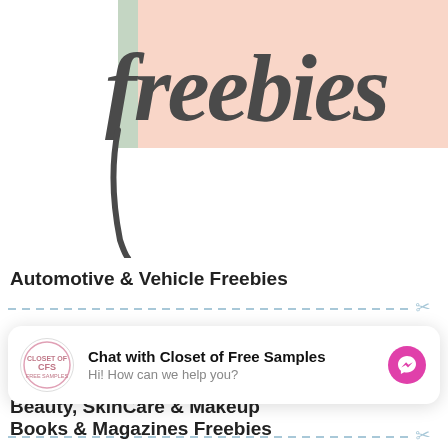[Figure (illustration): Decorative header with handwritten cursive 'freebies' text on a peach/salmon colored background with a green accent bar on the left side]
Automotive & Vehicle Freebies
Baby & Infant Free Samples
Beauty, SkinCare & Makeup
[Figure (screenshot): Chat widget: 'Chat with Closet of Free Samples' with subtitle 'Hi! How can we help you?' and a Facebook Messenger button]
Books & Magazines Freebies